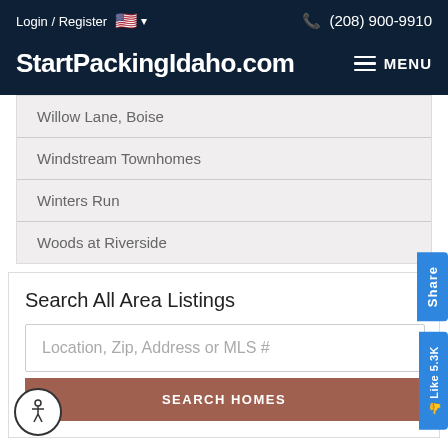Login / Register | (208) 900-9910
StartPackingIdaho.com
Willow Lane, Boise
Windstream Townhomes
Winters Run
Woods at Riverside
Search All Area Listings
Location, Zip, Address or MLS #
SEARCH HOMES